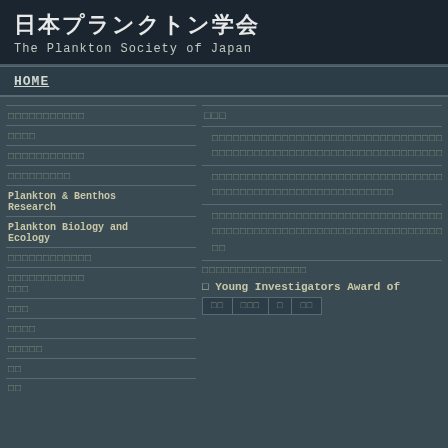日本プランクトン学会 The Plankton Society of Japan
HOME
□□□□□□□□□□□
□□□□
□□□□□□□□□□□
□□□□□□□□□
Plankton & Benthos Research
Plankton Biology and Ecology
□□□□□□□□□□□□
□□□□□□□□□□□
□□□
□□□
□□□□
□□□□□
□□
□□
□□□
□□□□□□□□□□□□□□□□□□□□□□□□□□□□□□□□□□□□□□□□□□□□□□□□□□□□□□□□□□□□□□□□□□□□□□□□□□
□□□□□□□□□□□□□□□□□□□□□□□□□□□□□□□□□□□□□□□□□□□□□□□□□□□□□□□□□□□□□□□□□□□□□□□□□□□□□□□□□□□□□□□□□□□□□□□□□□□□□□□□□□□□□□□□□□□□□□□□□□□□□□□□□□□□□□□□□□□□□□□□□□□□
□□
□□□□□□□□□□□□□□□
□ Young Investigators Award of
| □□ | □□□ | □ | □□ |
| --- | --- | --- | --- |